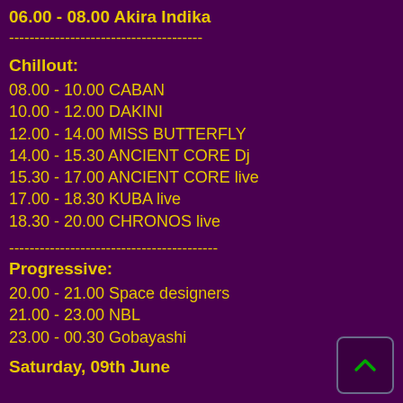06.00 - 08.00 Akira Indika
--------------------------------------
Chillout:
08.00 - 10.00 CABAN
10.00 - 12.00 DAKINI
12.00 - 14.00 MISS BUTTERFLY
14.00 - 15.30 ANCIENT CORE Dj
15.30 - 17.00 ANCIENT CORE live
17.00 - 18.30 KUBA live
18.30 - 20.00 CHRONOS live
-----------------------------------------
Progressive:
20.00 - 21.00 Space designers
21.00 - 23.00 NBL
23.00 - 00.30 Gobayashi
Saturday, 09th June